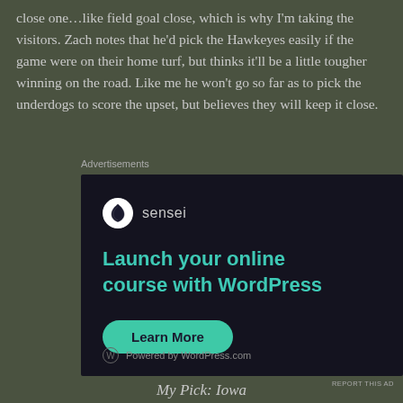close one…like field goal close, which is why I'm taking the visitors. Zach notes that he'd pick the Hawkeyes easily if the game were on their home turf, but thinks it'll be a little tougher winning on the road. Like me he won't go so far as to pick the underdogs to score the upset, but believes they will keep it close.
Advertisements
[Figure (other): Sensei advertisement: 'Launch your online course with WordPress' with a Learn More button, powered by WordPress.com]
REPORT THIS AD
My Pick: Iowa